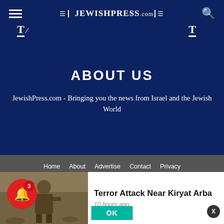JewishPress.com
ABOUT US
JewishPress.com - Bringing you the news from Israel and the Jewish World
Home   About   Advertise   Contact   Privacy   Dept. of Corrections   Submit an Article   Job Openings   Subscribe (Email Newsletter)   Subscriptions (Print Edition)
We use cookies to ensure that we give you the best experience on our website. If yo
[Figure (photo): Soldier or military personnel in field gear]
Terror Attack Near Kiryat Arba
10 hours ago
OK